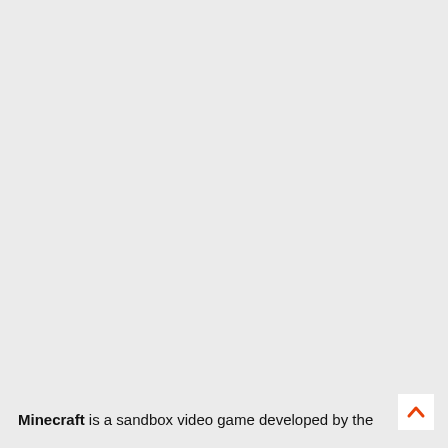Minecraft is a sandbox video game developed by the